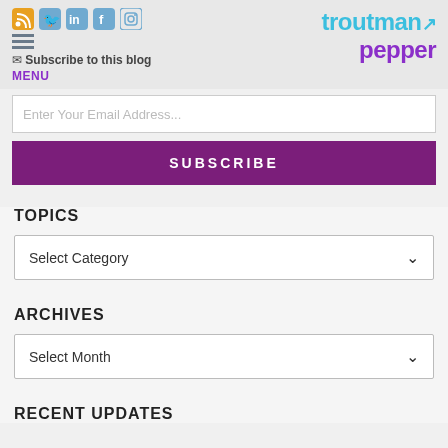Subscribe to this blog | MENU | troutman pepper
Enter Your Email Address...
SUBSCRIBE
TOPICS
Select Category
ARCHIVES
Select Month
RECENT UPDATES